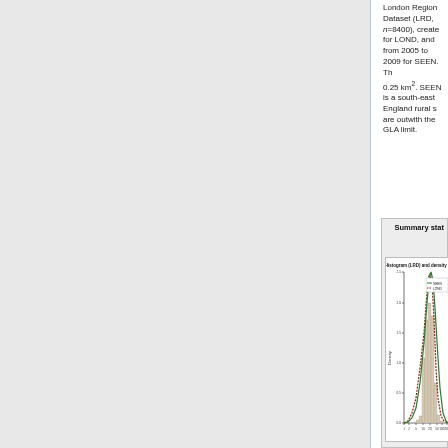London Region Dataset (LRD, n=8400), created for LOND, and from 2005 to 2009 for SEEN. Th 0.25 km2. SEEN is a south-east England rural s are outwith the GLA limit.
Summary stat
[Figure (continuous-plot): Histogram with overlaid density curves for LRD dataset. Two density curves: SEEN (solid green) and LOND (dashed dark red). X-axis shows values from 1 to 200 on log scale. Y-axis shows Density from 0.0 to 2.5. Histogram bars rise steeply around values 10-50 with peak near 20-25.]